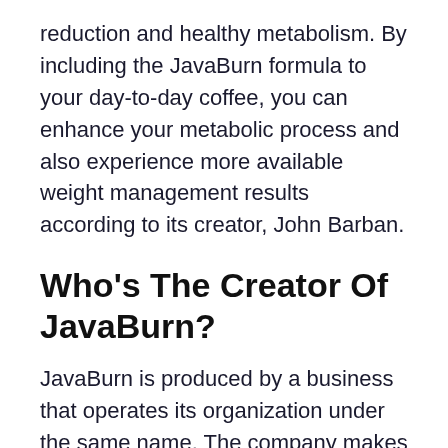reduction and healthy metabolism. By including the JavaBurn formula to your day-to-day coffee, you can enhance your metabolic process and also experience more available weight management results according to its creator, John Barban.
Who's The Creator Of JavaBurn?
JavaBurn is produced by a business that operates its organization under the same name. The company makes JavaBurn in the United States and is led by John Barban, a highly decorated wellness and also health advocate with differing levels and also distinctions in the world of health and fitness,